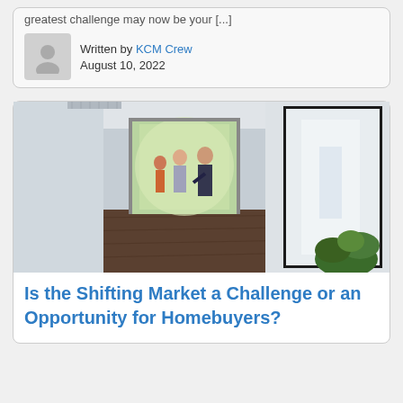greatest challenge may now be your [...]
Written by KCM Crew
August 10, 2022
[Figure (photo): Interior hallway of a modern home with hardwood floors, a large mirror on the right, green plants, and three people near the entrance doorway with natural light coming in.]
Is the Shifting Market a Challenge or an Opportunity for Homebuyers?